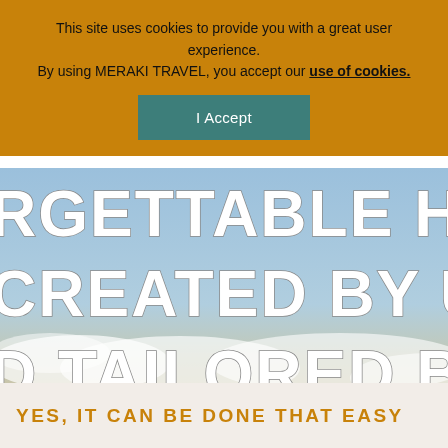This site uses cookies to provide you with a great user experience. By using MERAKI TRAVEL, you accept our use of cookies.
I Accept
[Figure (photo): Sky with clouds background with large white outlined text reading 'UNFORGETTABLE HOLIDAYS CREATED BY US AND TAILORED BY YOU' partially cropped]
YES, IT CAN BE DONE THAT EASY